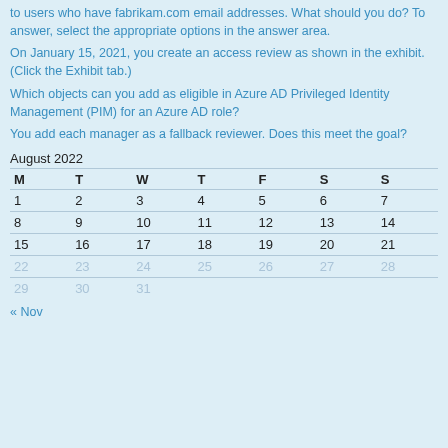to users who have fabrikam.com email addresses. What should you do? To answer, select the appropriate options in the answer area.
On January 15, 2021, you create an access review as shown in the exhibit. (Click the Exhibit tab.)
Which objects can you add as eligible in Azure AD Privileged Identity Management (PIM) for an Azure AD role?
You add each manager as a fallback reviewer. Does this meet the goal?
| M | T | W | T | F | S | S |
| --- | --- | --- | --- | --- | --- | --- |
| 1 | 2 | 3 | 4 | 5 | 6 | 7 |
| 8 | 9 | 10 | 11 | 12 | 13 | 14 |
| 15 | 16 | 17 | 18 | 19 | 20 | 21 |
| 22 | 23 | 24 | 25 | 26 | 27 | 28 |
| 29 | 30 | 31 |  |  |  |  |
« Nov